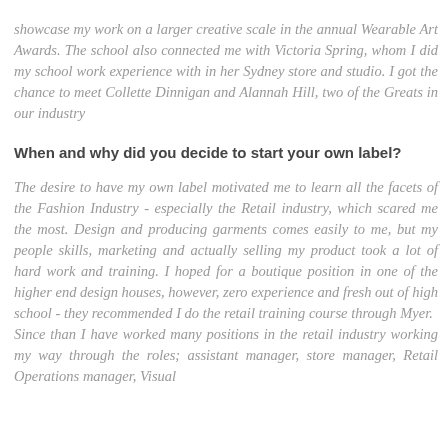showcase my work on a larger creative scale in the annual Wearable Art Awards. The school also connected me with Victoria Spring, whom I did my school work experience with in her Sydney store and studio. I got the chance to meet Collette Dinnigan and Alannah Hill, two of the Greats in our industry
When and why did you decide to start your own label?
The desire to have my own label motivated me to learn all the facets of the Fashion Industry - especially the Retail industry, which scared me the most. Design and producing garments comes easily to me, but my people skills, marketing and actually selling my product took a lot of hard work and training. I hoped for a boutique position in one of the higher end design houses, however, zero experience and fresh out of high school - they recommended I do the retail training course through Myer. Since than I have worked many positions in the retail industry working my way through the roles; assistant manager, store manager, Retail Operations manager, Visual